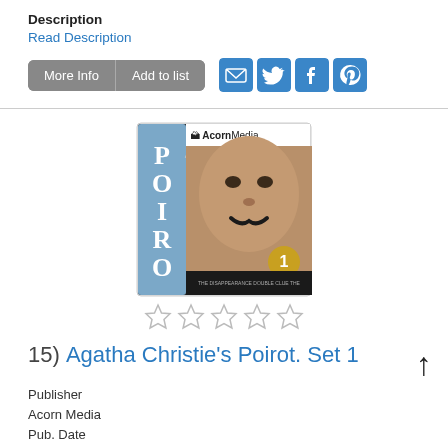Description
Read Description
[Figure (screenshot): UI buttons: More Info, Add to list, and social sharing icons (email, Twitter, Facebook, Pinterest)]
[Figure (photo): DVD cover of Agatha Christie's Poirot Set 1 by Acorn Media, showing the word POIROT vertically on a blue spine and actor's face with mustache]
[Figure (other): Five empty star rating icons]
15) Agatha Christie's Poirot. Set 1
Publisher
Acorn Media
Pub. Date
1990,